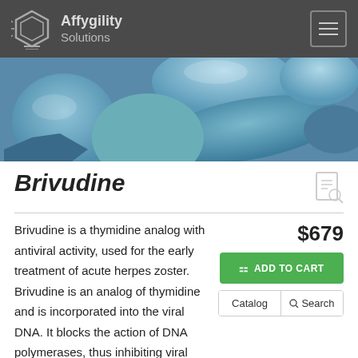Affygility Solutions
[Figure (photo): Close-up photograph of various blue and teal colored pills and tablets]
Brivudine
Brivudine is a thymidine analog with antiviral activity, used for the early treatment of acute herpes zoster. Brivudine is an analog of thymidine and is incorporated into the viral DNA. It blocks the action of DNA polymerases, thus inhibiting viral replication. It has a strong antiviral effect against the varicella-zoster virus. In vitro, brivudine has
$679
ADD TO CART
Catalog  Search
Chat with an in-house expert